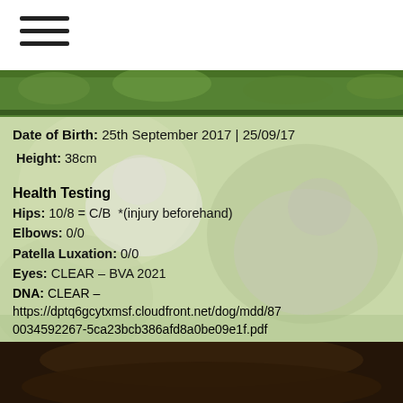[Figure (photo): Hamburger menu icon (three horizontal lines) in top left]
[Figure (photo): Top portion of outdoor photo showing green foliage/grass background with dogs]
Date of Birth: 25th September 2017 | 25/09/17
Height: 38cm
Health Testing
Hips: 10/8 = C/B *(injury beforehand)
Elbows: 0/0
Patella Luxation: 0/0
Eyes: CLEAR – BVA 2021
DNA: CLEAR – https://dptq6gcytxmsf.cloudfront.net/dog/mdd/870034592267-5ca23bcb386afd8a0be09e1f.pdf
[Figure (photo): Bottom portion of outdoor photo showing dark-colored dog on ground]